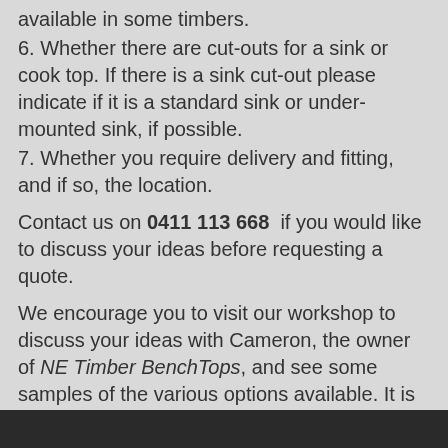available in some timbers.
6. Whether there are cut-outs for a sink or cook top. If there is a sink cut-out please indicate if it is a standard sink or under-mounted sink, if possible.
7. Whether you require delivery and fitting, and if so, the location.
Contact us on 0411 113 668 if you would like to discuss your ideas before requesting a quote.
We encourage you to visit our workshop to discuss your ideas with Cameron, the owner of NE Timber BenchTops, and see some samples of the various options available. It is best to ring before visiting as we can be off-site fitting jobs sometimes.